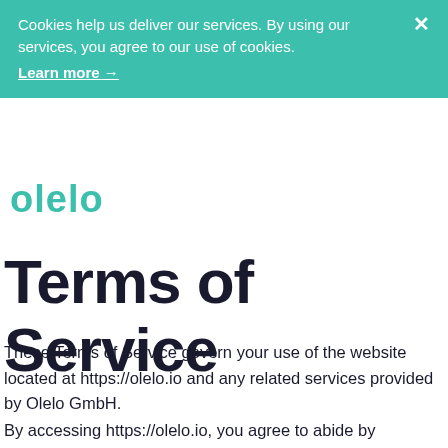Cookies help us deliver our services. By using our services, you agree to our use of cookies. Learn more →
[Figure (logo): olelo logo in teal/green color]
Terms of Service
These Terms of Service govern your use of the website located at https://olelo.io and any related services provided by Olelo GmbH.
By accessing https://olelo.io, you agree to abide by